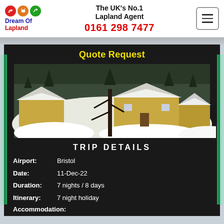[Figure (logo): Dream Of Lapland logo with three colored circles (red plane, orange reindeer, green arrow) and brand name]
The UK's No.1 Lapland Agent
0161 298 7477
Quote Request
[Figure (photo): Snow-covered cabins and trees in a Lapland winter landscape]
TRIP DETAILS
Airport:   Bristol
Date:   11-Dec-22
Duration:   7 nights / 8 days
Itinerary:   7 night holiday
Accommodation: